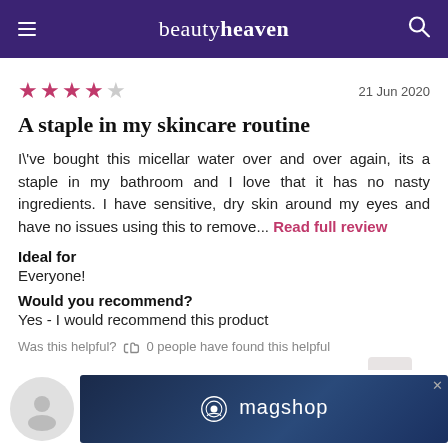beautyheaven
★★★★☆  21 Jun 2020
A staple in my skincare routine
I\'ve bought this micellar water over and over again, its a staple in my bathroom and I love that it has no nasty ingredients. I have sensitive, dry skin around my eyes and have no issues using this to remove... Read full review
Ideal for
Everyone!
Would you recommend?
Yes - I would recommend this product
Was this helpful?  0 people have found this helpful
[Figure (other): Advertisement banner for magshop with logo]